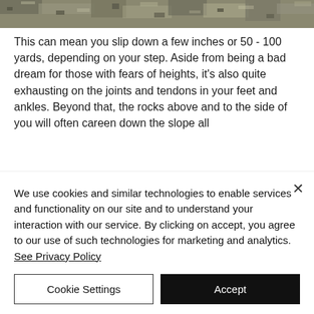[Figure (photo): A horizontal photo strip at the top showing a rocky or gravelly terrain, partially visible, appearing as a cropped banner image.]
This can mean you slip down a few inches or 50 - 100 yards, depending on your step. Aside from being a bad dream for those with fears of heights, it's also quite exhausting on the joints and tendons in your feet and ankles. Beyond that, the rocks above and to the side of you will often careen down the slope all
We use cookies and similar technologies to enable services and functionality on our site and to understand your interaction with our service. By clicking on accept, you agree to our use of such technologies for marketing and analytics. See Privacy Policy
Cookie Settings
Accept